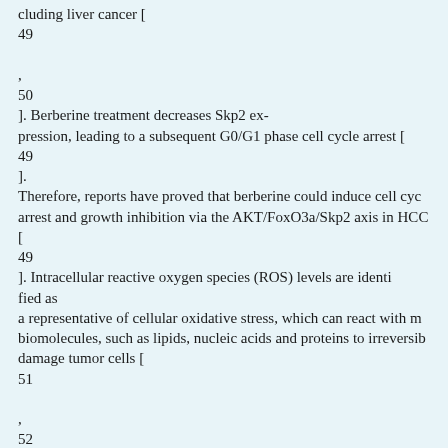cluding liver cancer [49,50]. Berberine treatment decreases Skp2 expression, leading to a subsequent G0/G1 phase cell cycle arrest [49]. Therefore, reports have proved that berberine could induce cell cycle arrest and growth inhibition via the AKT/FoxO3a/Skp2 axis in HCC [49]. Intracellular reactive oxygen species (ROS) levels are identified as a representative of cellular oxidative stress, which can react with many biomolecules, such as lipids, nucleic acids and proteins to irreversibly damage tumor cells [51,52]. Studies have shown that high concentrations (100 and 200 μM) of berberine result in an increase of ROS level in liver cancer cells [53].